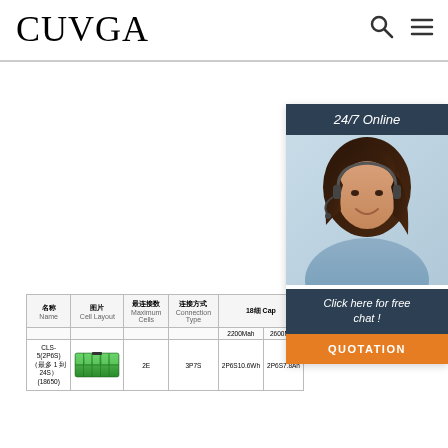CUVGA
[Figure (photo): 24/7 Online customer service chat widget with a woman wearing a headset, with 'Click here for free chat!' text and QUOTATION button]
| 名称 Name | 图片 Cell Layout | 最连接数 Maximum Cells | 连接方式 Connection Type | 18650 Capacity 2200Mah | 18650 Capacity 2600Mah |
| --- | --- | --- | --- | --- | --- |
| CLS-5(2P6S)
( 最多 1 到 24S) (18650) | [battery image] | 2E | 3P7S | 2P6S10.6Wh | 2P6S7.8Ah |